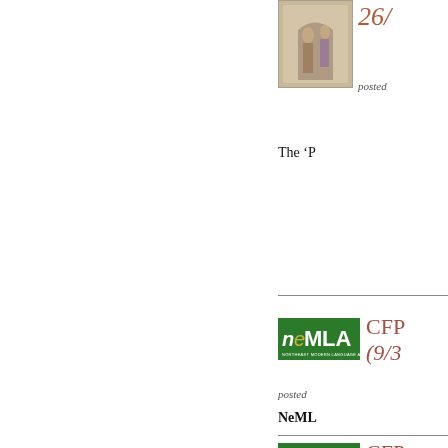[Figure (illustration): Painting/illustration of classical figures in an interior scene]
26/
posted
The ‘P
[Figure (logo): NeMLA Northeast Modern Language Association logo - green rectangle with stylized text]
CFP
(9/3
posted
NeML
[Figure (logo): NeMLA Northeast Modern Language Association logo - green rectangle with stylized text]
CFP
(9/